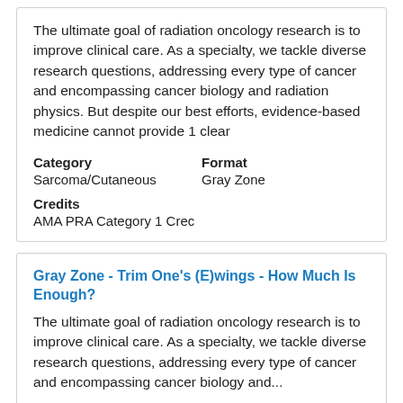The ultimate goal of radiation oncology research is to improve clinical care.  As a specialty, we tackle diverse research questions, addressing every type of cancer and encompassing cancer biology and radiation physics.  But despite our best efforts, evidence-based medicine cannot provide 1 clear
Category: Sarcoma/Cutaneous | Format: Gray Zone
Credits: AMA PRA Category 1 Crec
Gray Zone - Trim One's (E)wings - How Much Is Enough?
The ultimate goal of radiation oncology research is to improve clinical care.  As a specialty, we tackle diverse research questions, addressing every type of cancer and encompassing cancer biology and...